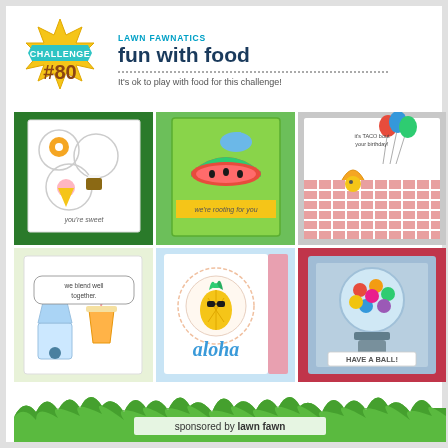[Figure (logo): Lawn Fawnatics Challenge #80 badge - gold starburst shape with teal ribbon banner saying CHALLENGE and large text #80]
LAWN FAWNATICS
fun with food
It's ok to play with food for this challenge!
[Figure (photo): Handmade card with food-themed stamps on green glitter background showing donuts, s'mores, ice cream with text 'you're sweet']
[Figure (photo): Handmade card on green background with watermelon slices and watering can, text 'we're rooting for you']
[Figure (photo): Handmade card with taco characters holding balloons on red gingham background with text 'it's TACO bout your birthday']
[Figure (photo): Handmade card with blender and smoothie characters, text 'we blend well together']
[Figure (photo): Handmade card with pineapple wearing sunglasses in circle on light blue background, word 'aloha' below]
[Figure (photo): Handmade card with gumball machine on red background, text 'have a ball']
[Figure (illustration): Green grass silhouette banner at bottom of page]
sponsored by lawn fawn